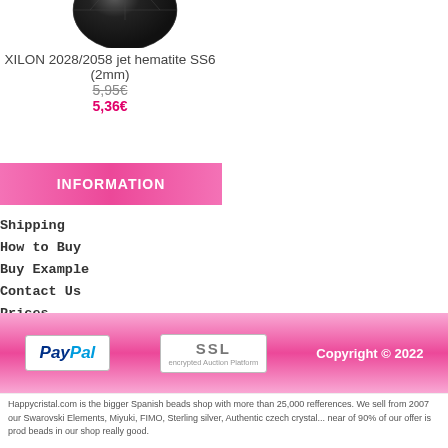[Figure (photo): Dark gemstone/crystal bead viewed from above, circular shape, faceted surface]
XILON 2028/2058 jet hematite SS6 (2mm)
5,95€
5,36€
INFORMATION
Shipping
How to Buy
Buy Example
Contact Us
Prices
Site Map
Outlet
Last Newsletter
[Figure (logo): PayPal logo in white box]
[Figure (logo): SSL encrypted Auction Platform logo in white box]
Copyright © 2022
Happycristal.com is the bigger Spanish beads shop with more than 25,000 refferences. We sell from 2007 our Swarovski Elements, Miyuki, FIMO, Sterling silver, Authentic czech crystal... near of 90% of our offer is products beads in our shop really good.